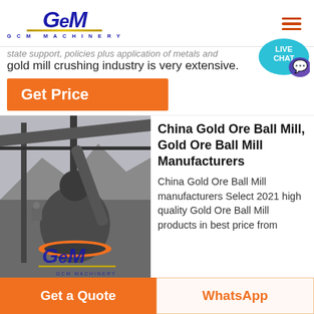[Figure (logo): GCM Machinery logo in dark blue italic font with gold underline and subtitle 'GCM MACHINERY']
...state support, policies plus application of metals and gold mill crushing industry is very extensive.
Get Price
[Figure (photo): Industrial ball mill machinery photographed outdoors with mountains in background, GCM Machinery logo watermark overlay]
China Gold Ore Ball Mill, Gold Ore Ball Mill Manufacturers
China Gold Ore Ball Mill manufacturers Select 2021 high quality Gold Ore Ball Mill products in best price from
Get a Quote
WhatsApp